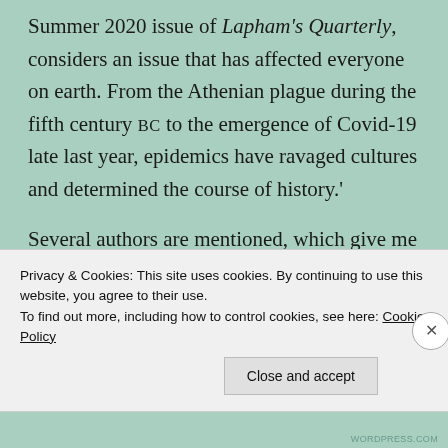Summer 2020 issue of Lapham's Quarterly, considers an issue that has affected everyone on earth. From the Athenian plague during the fifth century BC to the emergence of Covid-19 late last year, epidemics have ravaged cultures and determined the course of history.'
Several authors are mentioned, which give me something to explore until the issue arrives.
'…Jack London's futuristic vision of a world
Privacy & Cookies: This site uses cookies. By continuing to use this website, you agree to their use.
To find out more, including how to control cookies, see here: Cookie Policy